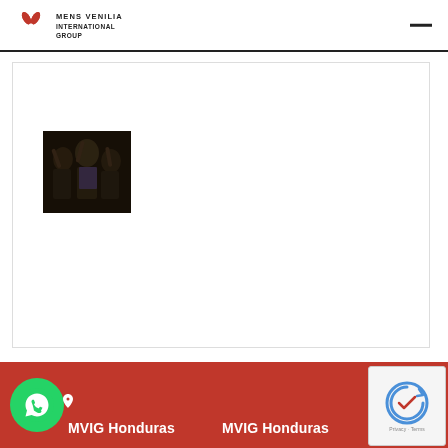MENS VENILIA INTERNATIONAL GROUP
[Figure (photo): Dark photograph showing people, appears to be a crowd or group scene with figures visible against a dark background]
MVIG Honduras   MVIG Honduras